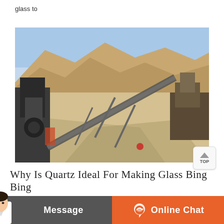glass to
[Figure (photo): Outdoor mining or quarry site with heavy industrial machinery, conveyor belts, and arid mountainous terrain in the background under a blue sky.]
Why Is Quartz Ideal For Making Glass Bing Bing
withstand very severe thermal shock, which can help us to